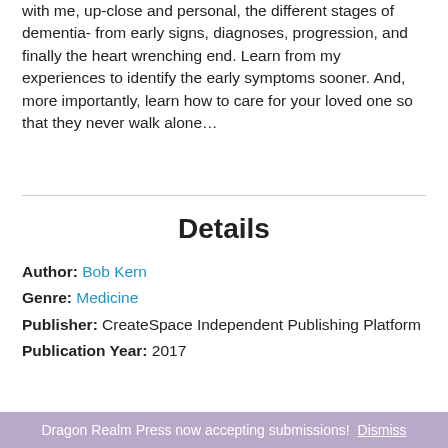with me, up-close and personal, the different stages of dementia- from early signs, diagnoses, progression, and finally the heart wrenching end. Learn from my experiences to identify the early symptoms sooner. And, more importantly, learn how to care for your loved one so that they never walk alone…
Details
Author: Bob Kern
Genre: Medicine
Publisher: CreateSpace Independent Publishing Platform
Publication Year: 2017
Dragon Realm Press now accepting submissions! Dismiss